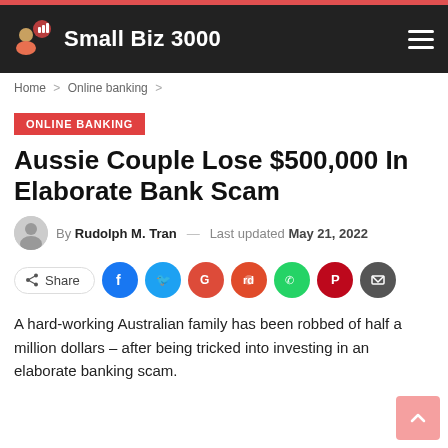Small Biz 3000
Home > Online banking >
ONLINE BANKING
Aussie Couple Lose $500,000 In Elaborate Bank Scam
By Rudolph M. Tran — Last updated May 21, 2022
Share
A hard-working Australian family has been robbed of half a million dollars – after being tricked into investing in an elaborate banking scam.